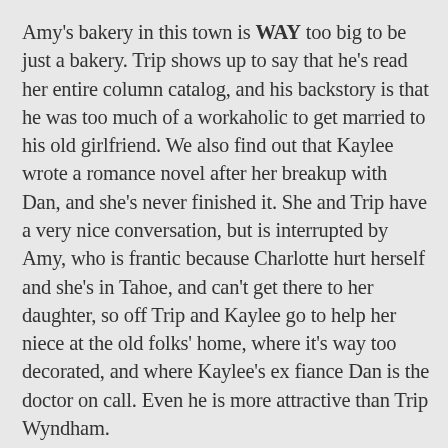Amy's bakery in this town is WAY too big to be just a bakery. Trip shows up to say that he's read her entire column catalog, and his backstory is that he was too much of a workaholic to get married to his old girlfriend. We also find out that Kaylee wrote a romance novel after her breakup with Dan, and she's never finished it. She and Trip have a very nice conversation, but is interrupted by Amy, who is frantic because Charlotte hurt herself and she's in Tahoe, and can't get there to her daughter, so off Trip and Kaylee go to help her niece at the old folks' home, where it's way too decorated, and where Kaylee's ex fiance Dan is the doctor on call. Even he is more attractive than Trip Wyndham.